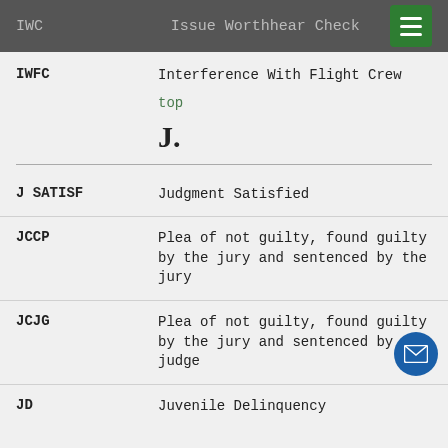IWC — Issue Worthhear Check
IWFC — Interference With Flight Crew
top
J.
J SATISF — Judgment Satisfied
JCCP — Plea of not guilty, found guilty by the jury and sentenced by the jury
JCJG — Plea of not guilty, found guilty by the jury and sentenced by the judge
JD — Juvenile Delinquency